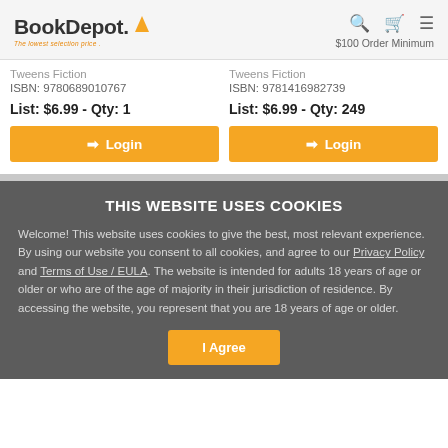[Figure (logo): BookDepot logo with orange book icon and tagline 'The lowest selection price']
$100 Order Minimum
Tweens Fiction
ISBN: 9780689010767
List: $6.99 - Qty: 1
Login
Tweens Fiction
ISBN: 9781416982739
List: $6.99 - Qty: 249
Login
THIS WEBSITE USES COOKIES
Welcome! This website uses cookies to give the best, most relevant experience. By using our website you consent to all cookies, and agree to our Privacy Policy and Terms of Use / EULA. The website is intended for adults 18 years of age or older or who are of the age of majority in their jurisdiction of residence. By accessing the website, you represent that you are 18 years of age or older.
I Agree